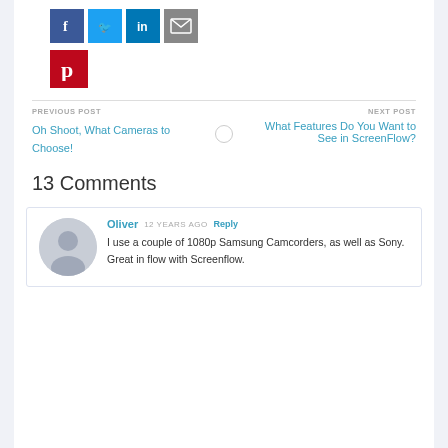[Figure (infographic): Social media share icons: Facebook (blue), Twitter (light blue), LinkedIn (dark blue), Email (grey) in a row, and Pinterest (red) below]
PREVIOUS POST
Oh Shoot, What Cameras to Choose!
NEXT POST
What Features Do You Want to See in ScreenFlow?
13 Comments
Oliver  12 YEARS AGO  Reply
I use a couple of 1080p Samsung Camcorders, as well as Sony. Great in flow with Screenflow.